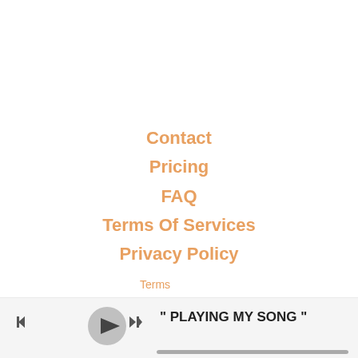Contact
Pricing
FAQ
Terms Of Services
Privacy Policy
Terms
[Figure (other): Music player bar with previous, play, and next buttons, song title '" PLAYING MY SONG "', and a progress bar.]